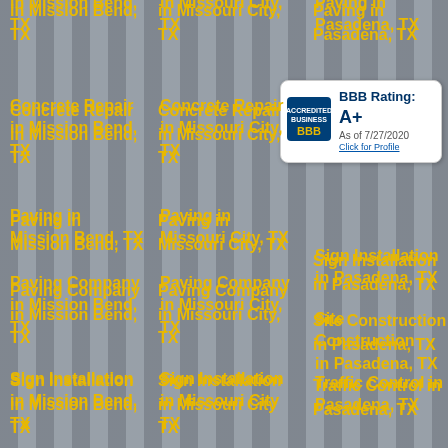in Mission Bend, TX
in Missouri City, TX
Paving in Pasadena, TX
Concrete Repair in Mission Bend, TX
Concrete Repair in Missouri City, TX
Paving in Mission Bend, TX
Paving in Missouri City, TX
Sign Installation in Pasadena, TX
Site Construction in Pasadena, TX
Paving Company in Mission Bend, TX
Paving Company in Missouri City, TX
Traffic Control in Pasadena, TX
Sign Installation in Mission Bend, TX
Sign Installation in Missouri City
Site Construction in Mission Bend, TX
Site Construction in Missouri City, TX
Traffic Control in Mission Bend
Traffic Control in Missouri City
[Figure (logo): BBB Accredited Business badge showing BBB Rating A+ as of 7/27/2020 with Click for Profile link]